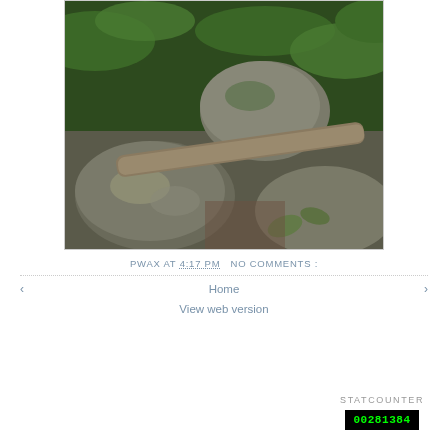[Figure (photo): Outdoor forest scene with rocks covered in moss and lichen, a fallen log/branch crossing diagonally, and green ferns in the background.]
PWAX AT 4:17 PM  NO COMMENTS :
Home
View web version
STATCOUNTER
00281384